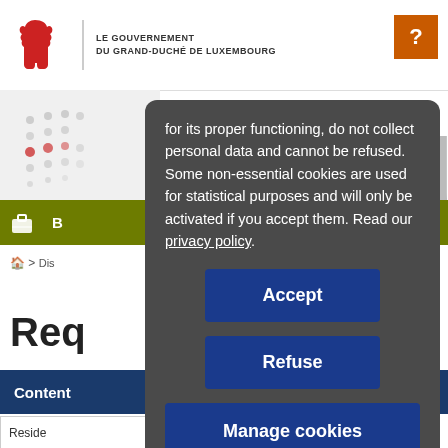[Figure (screenshot): Luxembourg government website header with red lion logo and text 'LE GOUVERNEMENT DU GRAND-DUCHÉ DE LUXEMBOURG']
for its proper functioning, do not collect personal data and cannot be refused. Some non-essential cookies are used for statistical purposes and will only be activated if you accept them. Read our privacy policy.
Accept
Refuse
Manage cookies
Content
Menu
Reside